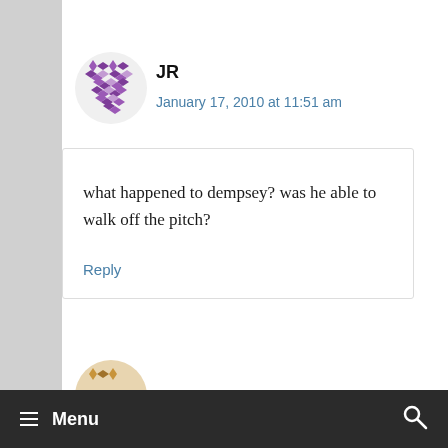JR
January 17, 2010 at 11:51 am
what happened to dempsey? was he able to walk off the pitch?
Reply
≡ Menu